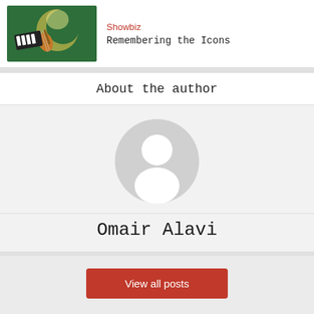[Figure (illustration): Thumbnail image showing musical instruments (violin, piano/keyboard) against a green background with a moon shape]
Showbiz
Remembering the Icons
About the author
[Figure (photo): Default grey avatar placeholder showing a generic person silhouette]
Omair Alavi
View all posts
[Figure (other): Chain link icon]
[Figure (other): Back to top arrow button]